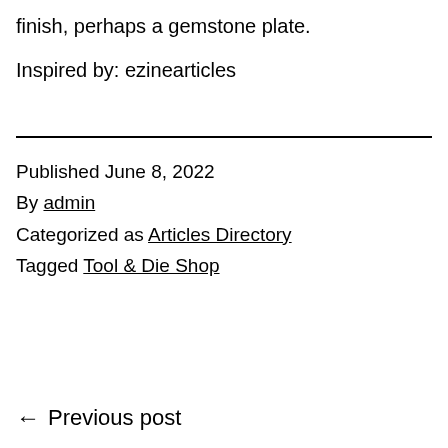finish, perhaps a gemstone plate.
Inspired by: ezinearticles
Published June 8, 2022
By admin
Categorized as Articles Directory
Tagged Tool & Die Shop
← Previous post